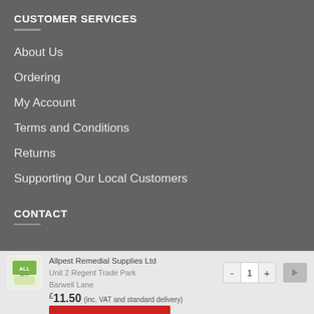CUSTOMER SERVICES
About Us
Ordering
My Account
Terms and Conditions
Returns
Supporting Our Local Customers
CONTACT
Allpest Remedial Supplies Ltd
Unit 2 Regent Trade Park
Barwell Lane
£11.50 (inc. VAT and standard delivery)